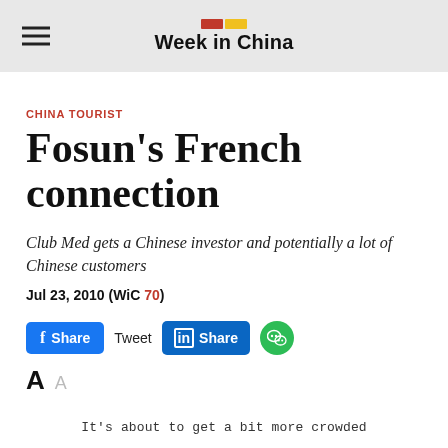Week in China
CHINA TOURIST
Fosun’s French connection
Club Med gets a Chinese investor and potentially a lot of Chinese customers
Jul 23, 2010 (WiC 70)
[Figure (other): Social share buttons: Facebook Share, Tweet, LinkedIn Share, WeChat]
It’s about to get a bit more crowded